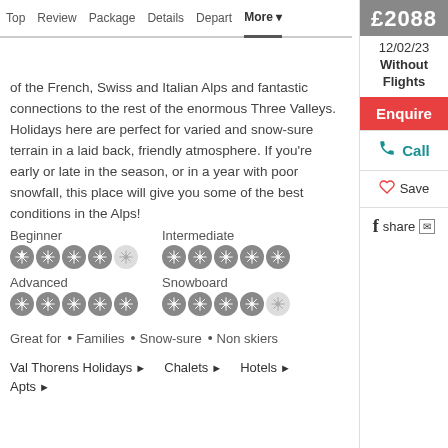Top  Review  Package  Details  Depart  More ▾  £2088
of the French, Swiss and Italian Alps and fantastic connections to the rest of the enormous Three Valleys. Holidays here are perfect for varied and snow-sure terrain in a laid back, friendly atmosphere. If you're early or late in the season, or in a year with poor snowfall, this place will give you some of the best conditions in the Alps!
12/02/23
Without
Flights
Enquire
Call
Save
share
Beginner ●●●●○  Intermediate ●●●●●
Advanced ●●●●●  Snowboard ●●●●○
Great for  • Families  • Snow-sure  • Non skiers
Val Thorens Holidays ►
Chalets ►
Hotels ►
Apts ►